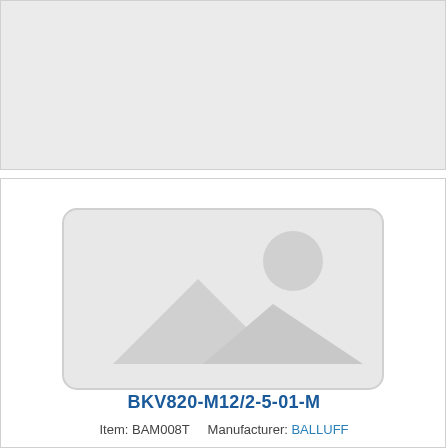[Figure (other): Gray empty placeholder panel at the top of the page]
[Figure (other): Product image placeholder with image icon (mountain and sun silhouette) centered in a white panel]
BKV820-M12/2-5-01-M
Item: BAM008T    Manufacturer: BALLUFF